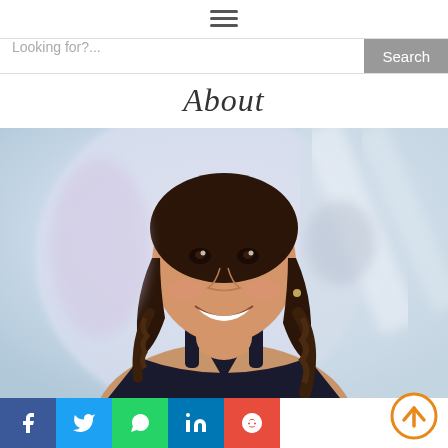≡ (hamburger menu icon)
Looking for?...
About
[Figure (photo): Smiling Asian woman with braided pigtails wearing a black top, photographed indoors with a blurred light background]
[Figure (other): Social share buttons row: Facebook, Twitter, WhatsApp, LinkedIn, Reddit]
[Figure (other): Orange circular scroll-to-top arrow button in bottom right corner]